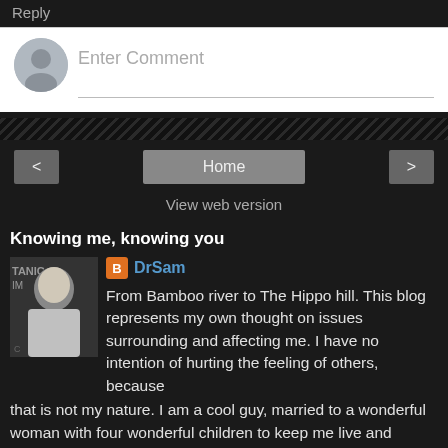Reply
[Figure (screenshot): Comment input box with avatar placeholder and 'Enter Comment' placeholder text]
[Figure (other): Diagonal striped divider bar]
< Home >
View web version
Knowing me, knowing you
[Figure (photo): Author photo showing a person in white shirt]
DrSam
From Bamboo river to The Hippo hill. This blog represents my own thought on issues surrounding and affecting me. I have no intention of hurting the feeling of others, because that is not my nature. I am a cool guy, married to a wonderful woman with four wonderful children to keep me live and kicking. The stories in this virtual domain were assembled and extracted from the tiny brain of myself. But from time to time this blog transformed and has a life of its own.